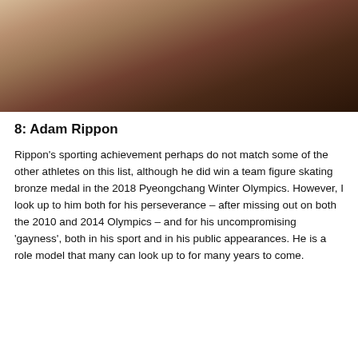[Figure (photo): Two women kissing, one with blonde wavy hair and one with dark hair, photographed closely together against a dark background.]
8: Adam Rippon
Rippon's sporting achievement perhaps do not match some of the other athletes on this list, although he did win a team figure skating bronze medal in the 2018 Pyeongchang Winter Olympics. However, I look up to him both for his perseverance – after missing out on both the 2010 and 2014 Olympics – and for his uncompromising 'gayness', both in his sport and in his public appearances. He is a role model that many can look up to for many years to come.